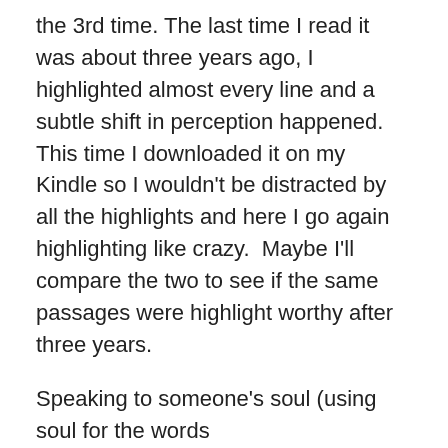the 3rd time. The last time I read it was about three years ago, I highlighted almost every line and a subtle shift in perception happened.  This time I downloaded it on my Kindle so I wouldn't be distracted by all the highlights and here I go again highlighting like crazy.  Maybe I'll compare the two to see if the same passages were highlight worthy after three years.
Speaking to someone's soul (using soul for the words Being/Awareness/That, etc) is very tricky and almost impossible to do with words since words and thoughts come from the mind and the soul does not.  Speaking to the soul needs to be transmitted between the words. I can hear the gap between the words of some spiritual teachers and others I cannot.
I've always been one to wonder about not only my